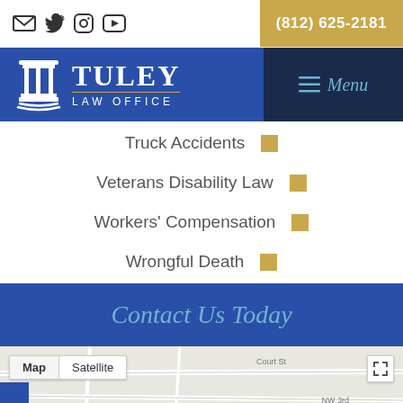Social icons: email, twitter, facebook, youtube | (812) 625-2181
[Figure (logo): Tuley Law Office logo with column icon]
Truck Accidents
Veterans Disability Law
Workers' Compensation
Wrongful Death
Contact Us Today
[Figure (map): Google map showing Court St area with Map/Satellite toggle and expand button]